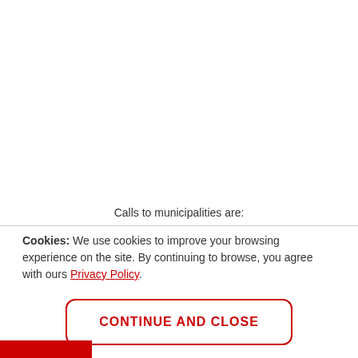Calls to municipalities are:
Cookies: We use cookies to improve your browsing experience on the site. By continuing to browse, you agree with ours Privacy Policy.
CONTINUE AND CLOSE